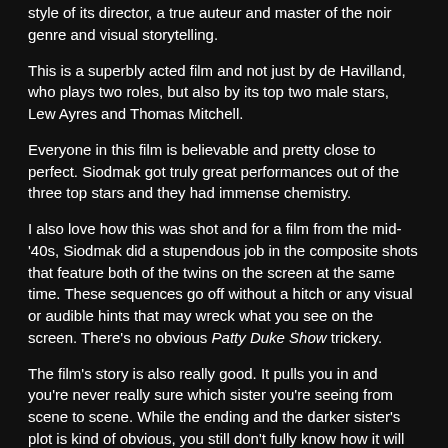style of its director, a true auteur and master of the noir genre and visual storytelling.
This is a superbly acted film and not just by de Havilland, who plays two roles, but also by its top two male stars, Lew Ayres and Thomas Mitchell.
Everyone in this film is believable and pretty close to perfect. Siodmak got truly great performances out of the three top stars and they had immense chemistry.
I also love how this was shot and for a film from the mid-'40s, Siodmak did a stupendous job in the composite shots that feature both of the twins on the screen at the same time. These sequences go off without a hitch or any visual or audible hints that may wreck what you see on the screen. There's no obvious Patty Duke Show trickery.
The film's story is also really good. It pulls you in and you're never really sure which sister you're seeing from scene to scene. While the ending and the darker sister's plot is kind of obvious, you still don't fully know how it will conclude and whether or not tragedy will befall the good sister or the decent male characters that just want to help them.
That being said, the picture builds up suspense well. The movie does a great job of not coming off as too formulaic or cliche while telling a good, compelling tale that leaves you unsure till the final scene.